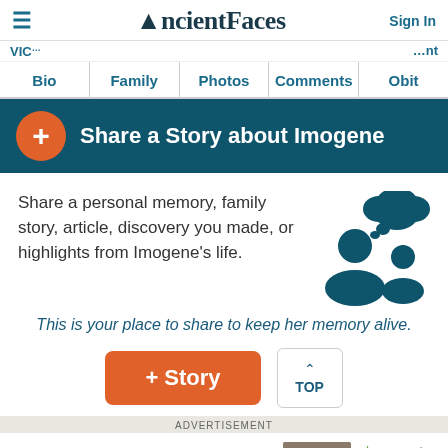AncientFaces — Sign In
VIC... ...ht
Bio  Family  Photos  Comments  Obit
Share a Story about Imogene
Share a personal memory, family story, article, discovery you made, or highlights from Imogene's life.
[Figure (illustration): Icon of two people silhouettes (adult and child) with a speech/thought cloud bubble above them, in dark teal color]
This is your place to share to keep her memory alive.
+ Story
TOP
ADVERTISEMENT
Free access to Ancestry® for 14 days